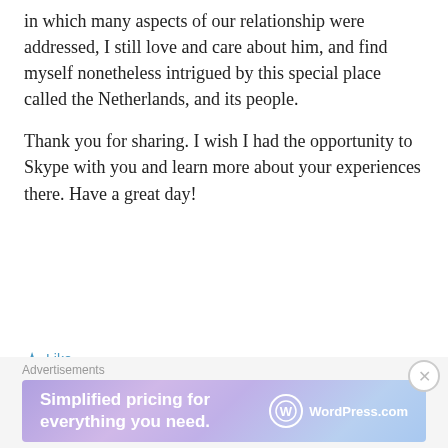in which many aspects of our relationship were addressed, I still love and care about him, and find myself nonetheless intrigued by this special place called the Netherlands, and its people.
Thank you for sharing. I wish I had the opportunity to Skype with you and learn more about your experiences there. Have a great day!
Like
Reply
africanagirl
October 13, 2015 at 1:24 pm
[Figure (screenshot): WordPress.com advertisement banner with text 'Simplified pricing for everything you need.' and WordPress.com logo]
Advertisements